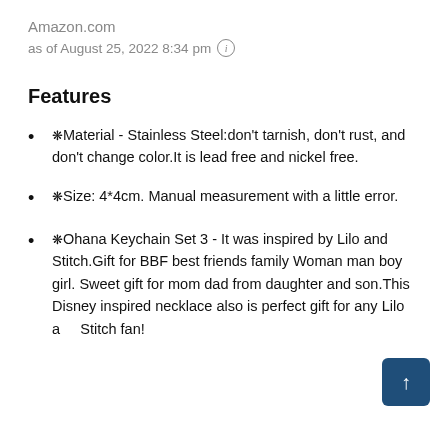Amazon.com
as of August 25, 2022 8:34 pm ℹ
Features
❋Material - Stainless Steel:don't tarnish, don't rust, and don't change color.It is lead free and nickel free.
❋Size: 4*4cm. Manual measurement with a little error.
❋Ohana Keychain Set 3 - It was inspired by Lilo and Stitch.Gift for BBF best friends family Woman man boy girl. Sweet gift for mom dad from daughter and son.This Disney inspired necklace also is perfect gift for any Lilo and Stitch fan!